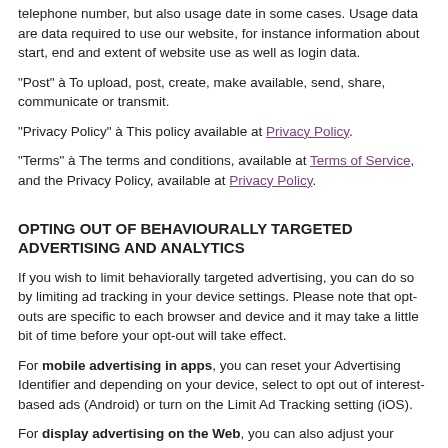telephone number, but also usage date in some cases. Usage data are data required to use our website, for instance information about start, end and extent of website use as well as login data.
“Post” à To upload, post, create, make available, send, share, communicate or transmit.
“Privacy Policy” à This policy available at Privacy Policy.
“Terms” à The terms and conditions, available at Terms of Service, and the Privacy Policy, available at Privacy Policy.
OPTING OUT OF BEHAVIOURALLY TARGETED ADVERTISING AND ANALYTICS
If you wish to limit behaviorally targeted advertising, you can do so by limiting ad tracking in your device settings. Please note that opt-outs are specific to each browser and device and it may take a little bit of time before your opt-out will take effect.
For mobile advertising in apps, you can reset your Advertising Identifier and depending on your device, select to opt out of interest-based ads (Android) or turn on the Limit Ad Tracking setting (iOS).
For display advertising on the Web, you can also adjust your browser settings to limit certain tracking by means of cookies, and by